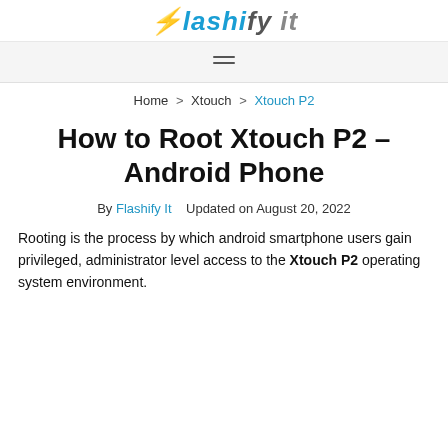Flashify It
Home > Xtouch > Xtouch P2
How to Root Xtouch P2 – Android Phone
By Flashify It   Updated on August 20, 2022
Rooting is the process by which android smartphone users gain privileged, administrator level access to the Xtouch P2 operating system environment.